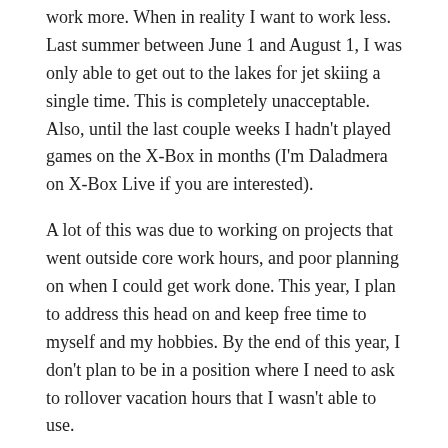work more.  When in reality I want to work less.  Last summer between June 1 and August 1, I was only able to get out to the lakes for jet skiing a single time.  This is completely unacceptable.  Also, until the last couple weeks I hadn't played games on the X-Box in months (I'm Daladmera on X-Box Live if you are interested).
A lot of this was due to working on projects that went outside core work hours, and poor planning on when I could get work done.  This year, I plan to address this head on and keep free time to myself and my hobbies.  By the end of this year, I don't plan to be in a position where I need to ask to rollover vacation hours that I wasn't able to use.
There will be more me time.
SHARE THIS:
Twitter   Facebook